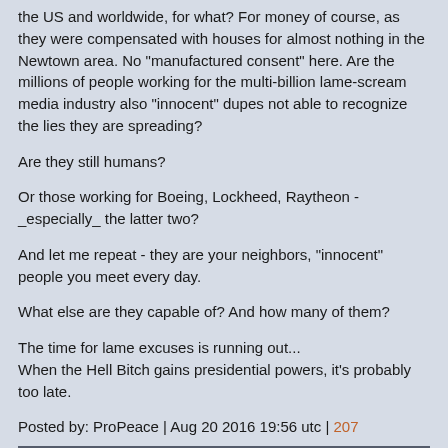the US and worldwide, for what? For money of course, as they were compensated with houses for almost nothing in the Newtown area. No "manufactured consent" here. Are the millions of people working for the multi-billion lame-scream media industry also "innocent" dupes not able to recognize the lies they are spreading?
Are they still humans?
Or those working for Boeing, Lockheed, Raytheon - _especially_ the latter two?
And let me repeat - they are your neighbors, "innocent" people you meet every day.
What else are they capable of? And how many of them?
The time for lame excuses is running out...
When the Hell Bitch gains presidential powers, it's probably too late.
Posted by: ProPeace | Aug 20 2016 19:56 utc | 207
@ Hoarsewhisperer | Aug 20, 2016 1:11:38 PM | 197
The term you were using is a medical term with specific meaning. You use the term as a political term without meaning. Greater fool you, this discussion in ended